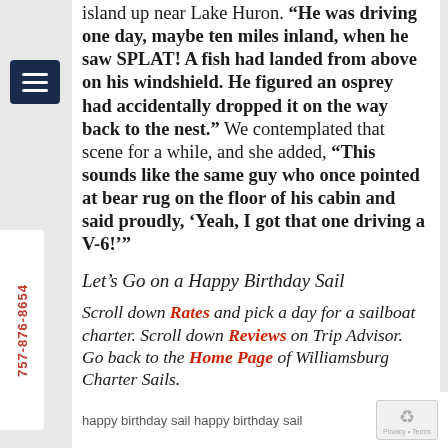island up near Lake Huron. “He was driving one day, maybe ten miles inland, when he saw SPLAT! A fish had landed from above on his windshield. He figured an osprey had accidentally dropped it on the way back to the nest.” We contemplated that scene for a while, and she added, “This sounds like the same guy who once pointed at bear rug on the floor of his cabin and said proudly, ‘Yeah, I got that one driving a V-6!’”
Let’s Go on a Happy Birthday Sail
Scroll down Rates and pick a day for a sailboat charter. Scroll down Reviews on Trip Advisor. Go back to the Home Page of Williamsburg Charter Sails.
happy birthday sail happy birthday sail